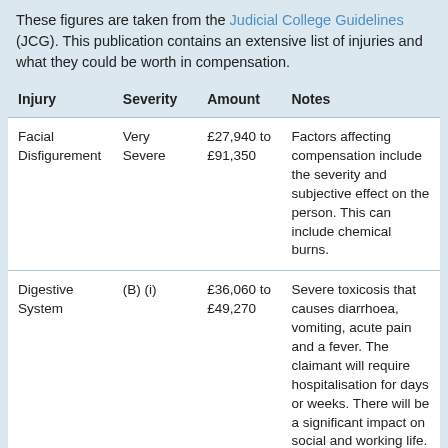These figures are taken from the Judicial College Guidelines (JCG). This publication contains an extensive list of injuries and what they could be worth in compensation.
| Injury | Severity | Amount | Notes |
| --- | --- | --- | --- |
| Facial Disfigurement | Very Severe | £27,940 to £91,350 | Factors affecting compensation include the severity and subjective effect on the person. This can include chemical burns. |
| Digestive System | (B) (i) | £36,060 to £49,270 | Severe toxicosis that causes diarrhoea, vomiting, acute pain and a fever. The claimant will require hospitalisation for days or weeks. There will be a significant impact on social and working life. |
| Chest | (E) | £5,000 to £11,820 | Toxic fume or smoke inhalation that causes some lasting damage. However, it will not |